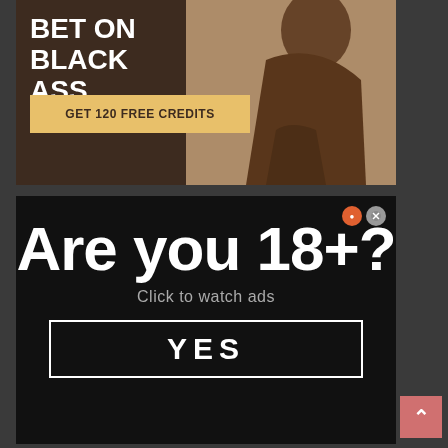[Figure (photo): Adult advertisement banner with dark brown left panel showing bold white text 'BET ON BLACK ASS' and a gold/tan button 'GET 120 FREE CREDITS', right side shows a partial photo of a woman]
[Figure (infographic): Age verification ad overlay on black background. Large white bold text 'Are you 18+?' with subtitle 'Click to watch ads' and a white-bordered button labeled 'YES'. Small close icons top right.]